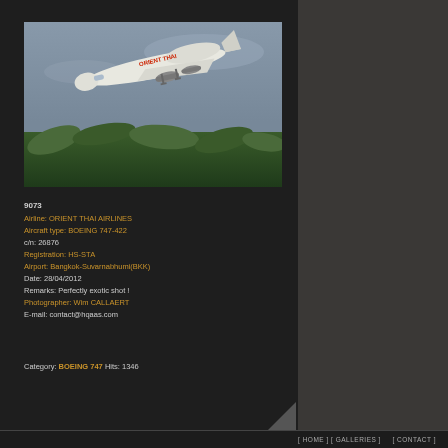[Figure (photo): Boeing 747 aircraft with Orient Thai Airlines livery taking off against gray sky with palm trees in foreground]
9073
Airline: ORIENT THAI AIRLINES
Aircraft type: BOEING 747-422
c/n: 26876
Registration: HS-STA
Airport: Bangkok-Suvarnabhumi(BKK)
Date: 28/04/2012
Remarks: Perfectly exotic shot !
Photographer: Wim CALLAERT
E-mail: contact@hqaas.com
Category: BOEING 747 Hits: 1346
[ HOME ] [ GALLERIES ]      [ CONTACT ]